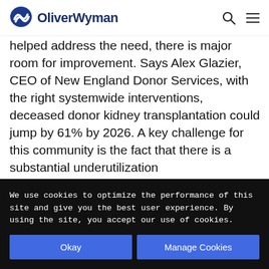OliverWyman
helped address the need, there is major room for improvement. Says Alex Glazier, CEO of New England Donor Services, with the right systemwide interventions, deceased donor kidney transplantation could jump by 61% by 2026. A key challenge for this community is the fact that there is a substantial underutilization
We use cookies to optimize the performance of this site and give you the best user experience. By using the site, you accept our use of cookies.